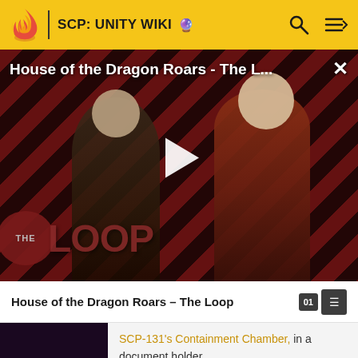SCP: UNITY WIKI
[Figure (screenshot): Video thumbnail for 'House of the Dragon Roars - The Loop' showing two characters with diagonal red and black stripe background. A play button triangle is shown in the center. THE LOOP logo is visible at the bottom left. A close (X) button appears at top right.]
House of the Dragon Roars - The Loop
01
SCP-131's Containment Chamber, in a document holder.